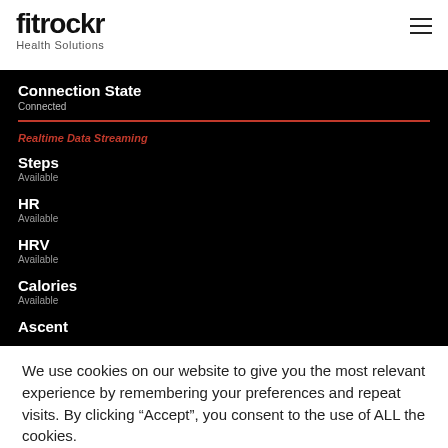fitrockr Health Solutions
[Figure (screenshot): Mobile app screenshot on black background showing Connection State: Connected, a red horizontal divider, Realtime Data Streaming label in red italic, and list items: Steps (Available), HR (Available), HRV (Available), Calories (Available), Ascent (partially visible)]
We use cookies on our website to give you the most relevant experience by remembering your preferences and repeat visits. By clicking “Accept”, you consent to the use of ALL the cookies.
Cookie settings | ACCEPT